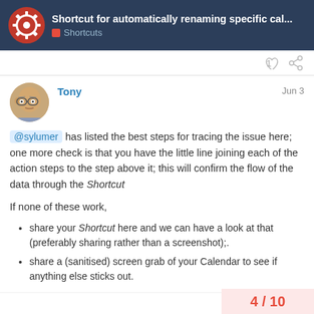Shortcut for automatically renaming specific cal... | Shortcuts
@sylumer has listed the best steps for tracing the issue here; one more check is that you have the little line joining each of the action steps to the step above it; this will confirm the flow of the data through the Shortcut
If none of these work,
share your Shortcut here and we can have a look at that (preferably sharing rather than a screenshot);.
share a (sanitised) screen grab of your Calendar to see if anything else sticks out.
4 / 10